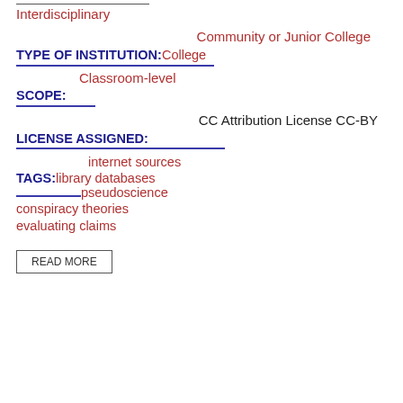Interdisciplinary
Community or Junior College
TYPE OF INSTITUTION: College
Classroom-level
SCOPE:
CC Attribution License CC-BY
LICENSE ASSIGNED:
internet sources
TAGS: library databases
pseudoscience
conspiracy theories
evaluating claims
READ MORE